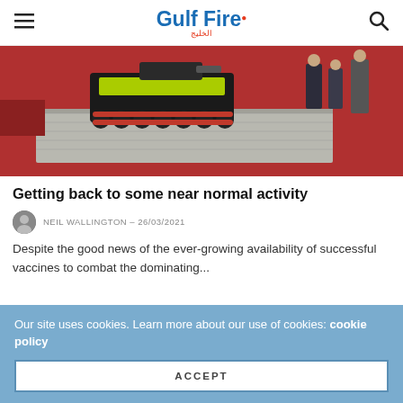Gulf Fire
[Figure (photo): A tracked robotic firefighting vehicle with a yellow and black body on a red exhibition floor, with people standing in the background.]
Getting back to some near normal activity
NEIL WALLINGTON – 26/03/2021
Despite the good news of the ever-growing availability of successful vaccines to combat the dominating...
Our site uses cookies. Learn more about our use of cookies: cookie policy
ACCEPT